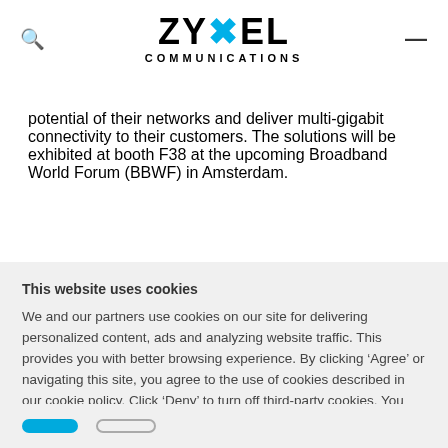ZYXEL COMMUNICATIONS
potential of their networks and deliver multi-gigabit connectivity to their customers. The solutions will be exhibited at booth F38 at the upcoming Broadband World Forum (BBWF) in Amsterdam.
This website uses cookies
We and our partners use cookies on our site for delivering personalized content, ads and analyzing website traffic. This provides you with better browsing experience. By clicking ‘Agree’ or navigating this site, you agree to the use of cookies described in our cookie policy. Click ‘Deny’ to turn off third-party cookies. You can manage your cookie preferences at any time. More info